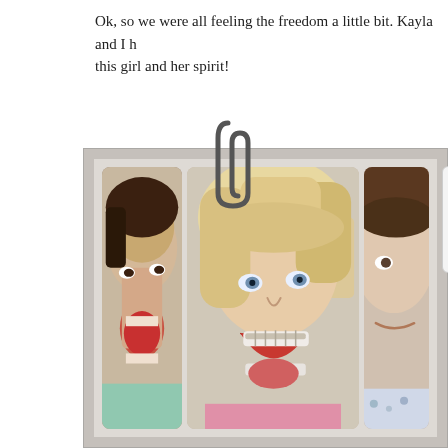Ok, so we were all feeling the freedom a little bit. Kayla and I h[ad fun with] this girl and her spirit!
[Figure (photo): A blog post screenshot showing two people making silly exaggerated faces in a photo strip style collage. The left photo shows a woman with mouth wide open making a funny face. The center photo shows a young girl with blonde hair making a wide-mouthed silly face with braces visible. The right photo partially visible shows another person. A paperclip graphic overlays the top of the photo frame. A 'Follow Me' button with a blue shield icon is visible on the right side.]